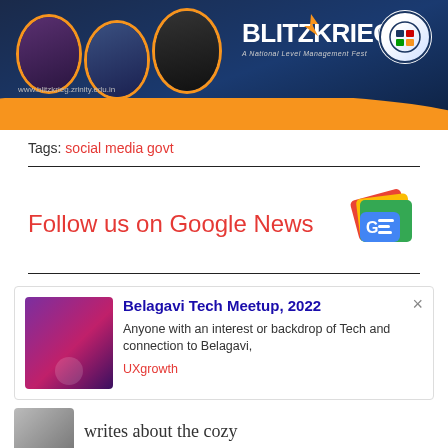[Figure (photo): Blitzkrieg National Level Management Fest banner with oval portraits of speakers/attendees, orange arc design, Blitzkrieg logo and text, college logo, website URL www.blitzkrieg.zrinity.edu.in]
Tags: social media govt
[Figure (infographic): Follow us on Google News with Google News colorful icon (GE logo with stacked colorful cards)]
[Figure (screenshot): Notification card for Belagavi Tech Meetup, 2022 with thumbnail, title, description 'Anyone with an interest or backdrop of Tech and connection to Belagavi,', source UXgrowth, and close button]
writes about the cozy